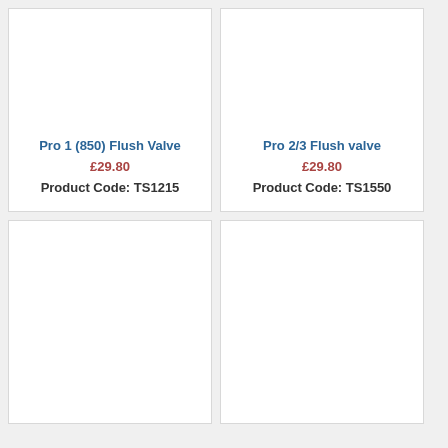Pro 1 (850) Flush Valve
£29.80
Product Code: TS1215
Pro 2/3 Flush valve
£29.80
Product Code: TS1550